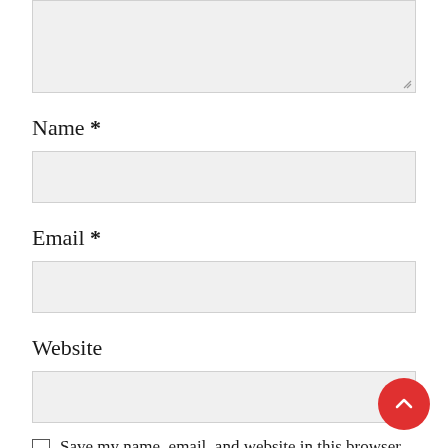[Figure (screenshot): Top portion of a textarea form field with a light gray background and resize handle in lower right corner]
Name *
[Figure (screenshot): Text input field for Name with light gray background]
Email *
[Figure (screenshot): Text input field for Email with light gray background]
Website
[Figure (screenshot): Text input field for Website with light gray background]
Save my name, email, and website in this browser for